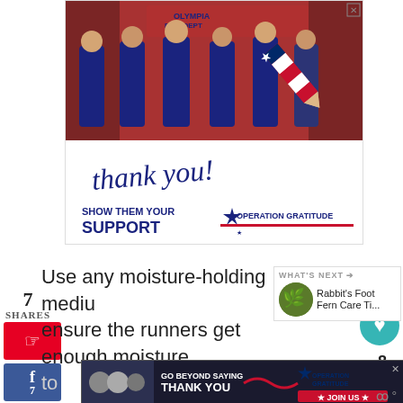[Figure (photo): Operation Gratitude advertisement showing firefighters from Olympia Fire Dept holding items, with 'thank you!' cursive text, a patriotic pencil graphic, and 'SHOW THEM YOUR SUPPORT OPERATION GRATITUDE' text]
7
SHARES
Use any moisture-holding medium to ensure the runners get enough moisture
[Figure (photo): WHAT'S NEXT: Rabbit's Foot Fern Care Ti... thumbnail with green fern image]
[Figure (photo): Operation Gratitude bottom banner ad: GO BEYOND SAYING THANK YOU, JOIN US]
to
8